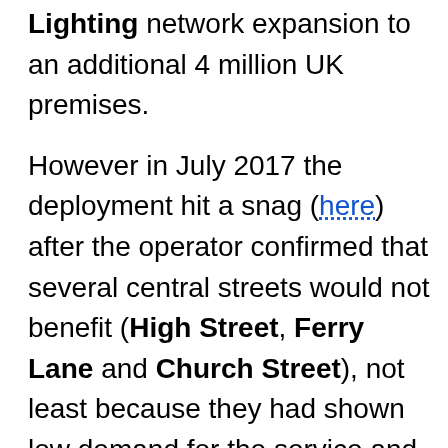Lighting network expansion to an additional 4 million UK premises.
However in July 2017 the deployment hit a snag (here) after the operator confirmed that several central streets would not benefit (High Street, Ferry Lane and Church Street), not least because they had shown low demand for the service and the work would require a key road junction (School Lane) to be closed; this could create a diversion of up to 12 miles (i.e. lots of angry locals and commuters = bad publicity).
On top of that some of the local pavements were very narrow and already contained gas and electricity mains, which added to the complexity. The decision was understandable, although it now appears as if the